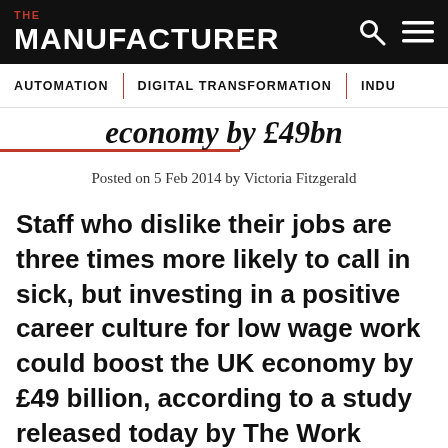THE MANUFACTURER
AUTOMATION | DIGITAL TRANSFORMATION | INDU
economy by £49bn
Posted on 5 Feb 2014 by Victoria Fitzgerald
Staff who dislike their jobs are three times more likely to call in sick, but investing in a positive career culture for low wage work could boost the UK economy by £49 billion, according to a study released today by The Work Foundation.